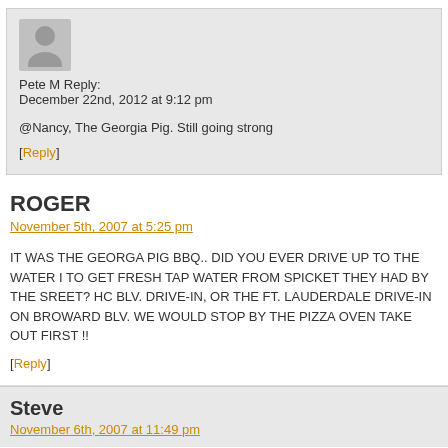Pete M Reply:
December 22nd, 2012 at 9:12 pm
@Nancy, The Georgia Pig. Still going strong
[Reply]
ROGER
November 5th, 2007 at 5:25 pm
IT WAS THE GEORGA PIG BBQ.. DID YOU EVER DRIVE UP TO THE WATER TO GET FRESH TAP WATER FROM SPICKET THEY HAD BY THE SREET? HO BLV. DRIVE-IN, OR THE FT. LAUDERDALE DRIVE-IN ON BROWARD BLV. WE WOULD STOP BY THE PIZZA OVEN TAKE OUT FIRST !!
[Reply]
Steve
November 6th, 2007 at 11:49 pm